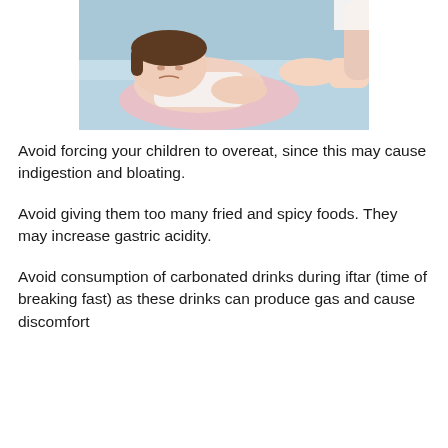[Figure (photo): A child lying down appearing unwell, with an adult's hand touching the child's abdomen area. Blue bedding in background.]
Avoid forcing your children to overeat, since this may cause indigestion and bloating.
Avoid giving them too many fried and spicy foods. They may increase gastric acidity.
Avoid consumption of carbonated drinks during iftar (time of breaking fast) as these drinks can produce gas and cause discomfort